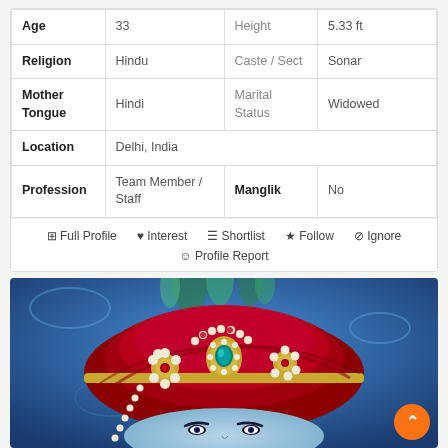| Field | Value | Field | Value |
| --- | --- | --- | --- |
| Age | 33 | Height | 5.33 ft |
| Religion | Hindu | Caste / Sect | Sonar |
| Mother Tongue | Hindi | Marital Status | Widowed |
| Location | Delhi, India |  |  |
| Profession | Team Member / Staff | Manglik | No |
Full Profile  Interest  Shortlist  Follow  Ignore  Profile Report
[Figure (illustration): Colorful illustration of Lord Krishna wearing a red and gold turban with pearl and jewel ornaments, on a blue decorative background]